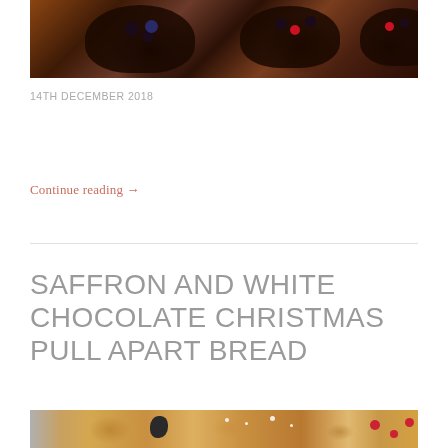[Figure (photo): Food photo showing chocolate-glazed pastry tarts topped with fresh berries including blackberries, blueberries, and raspberries, with a flaked almond crust on a light wooden surface]
14TH DECEMBER 2018
Continue reading →
SAFFRON AND WHITE CHOCOLATE CHRISTMAS PULL APART BREAD
[Figure (photo): Partial view of a saffron and white chocolate Christmas pull apart bread with powdered sugar, cranberries, and holly decorations]